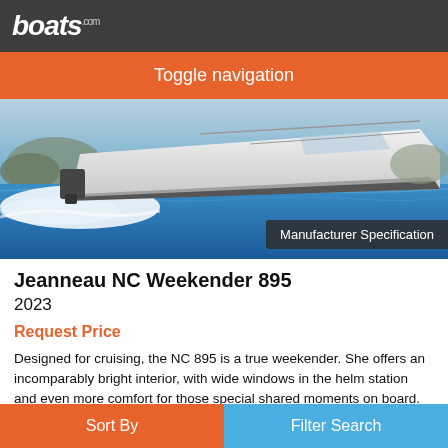boats.com
Toggle navigation
[Figure (photo): A white motorboat (Jeanneau NC Weekender 895) speeding on blue water, with spray visible, viewed from a low side angle. A 'Manufacturer Specification' badge overlays the bottom right.]
Jeanneau NC Weekender 895
2023
Request Price
Designed for cruising, the NC 895 is a true weekender.  She offers an incomparably bright interior, with wide windows in the helm station and even more comfort for those special shared moments on board. The cockpit features an L-shaped saloon, reclining seatbacks and armrests with cup holders.Both on the interior and on the exterior, the seatbacks
Sort By | Filter Search